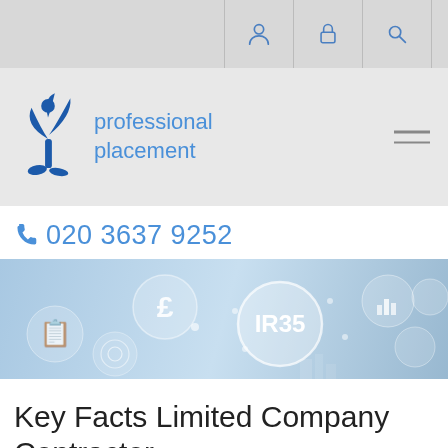professional placement — navigation header with user, lock, and search icons
[Figure (logo): Professional Placement logo: blue stylized plant/person icon with blue text 'professional placement']
020 3637 9252
[Figure (infographic): IR35 banner image with blue-toned connected circles showing financial icons including pound sign, bar chart, gavel, and central IR35 circle]
Key Facts Limited Company Contractor
When you decide to work on a contract assignment, you can either